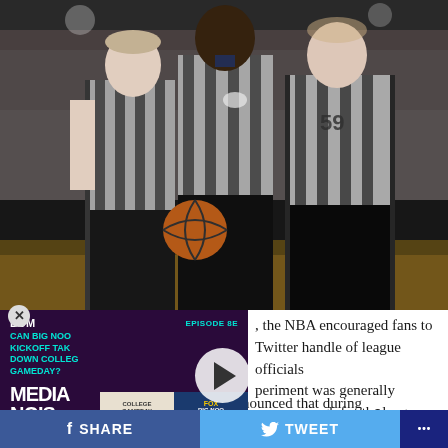[Figure (photo): Three NBA referees in striped gray uniforms standing together on a basketball court, one holding a basketball. One referee wears number 59. Arena crowd visible in background.]
[Figure (screenshot): BSM Media Noise podcast thumbnail overlay showing Episode 8E with teal text: CAN BIG NOON KICKOFF TAKE DOWN COLLEGE GAMEDAY? along with College Gameday and Fox Big Noon Kickoff logos. Purple/dark background with play button.]
the NBA encouraged fans to follow the Twitter handle of league officials...periment was generally...e was enough for the league to take it a step further.  It was announced that during Monday's TNT matchup between the Warriors and the
f SHARE   TWEET   ...